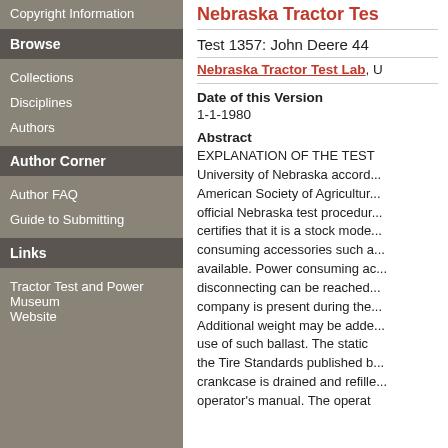Copyright Information
Browse
Collections
Disciplines
Authors
Author Corner
Author FAQ
Guide to Submitting
Links
Tractor Test and Power Museum Website
Nebraska Tractor Tes...
Test 1357: John Deere 44...
Nebraska Tractor Test Lab, U...
Date of this Version
1-1-1980
Abstract
EXPLANATION OF THE TEST University of Nebraska accord... American Society of Agricultur... official Nebraska test procedur... certifies that it is a stock mode... consuming accessories such a... available. Power consuming ac... disconnecting can be reached... company is present during the... Additional weight may be adde... use of such ballast. The static... the Tire Standards published b... crankcase is drained and refille... operator's manual. The operat...